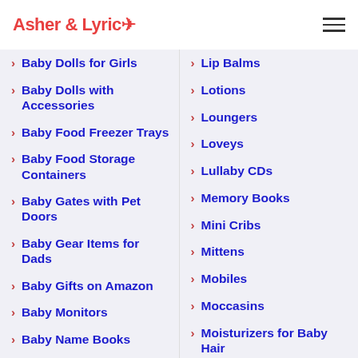Asher & Lyric
Baby Dolls for Girls
Baby Dolls with Accessories
Baby Food Freezer Trays
Baby Food Storage Containers
Baby Gates with Pet Doors
Baby Gear Items for Dads
Baby Gifts on Amazon
Baby Monitors
Baby Name Books
Baby Oils
Baby On Board Signs
Lip Balms
Lotions
Loungers
Loveys
Lullaby CDs
Memory Books
Mini Cribs
Mittens
Mobiles
Moccasins
Moisturizers for Baby Hair
Monogrammed Baby Gifts